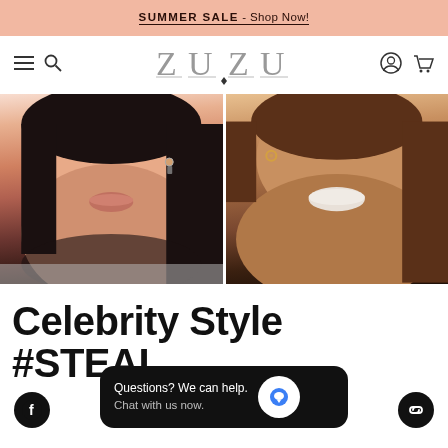SUMMER SALE - Shop Now!
[Figure (logo): ZUZU jewelry brand logo with hamburger menu, search, account, and cart icons in navigation bar]
[Figure (photo): Two side-by-side close-up photos of women wearing earrings. Left: woman with dark bob haircut showing small hoop/stud earrings. Right: woman with brown hair smiling showing small gold hoop earrings.]
Celebrity Style #STEAL
[Figure (screenshot): Chat popup overlay: 'Questions? We can help. Chat with us now.' with blue chat bubble icon on dark background. Facebook icon bottom left, link icon bottom right.]